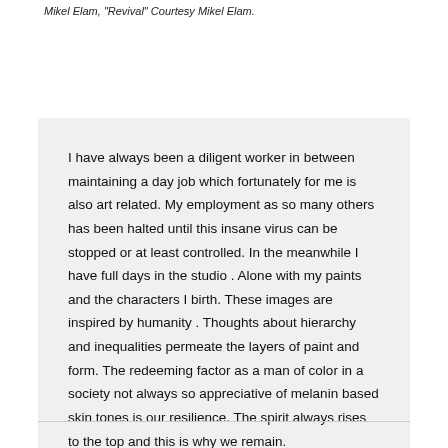Mikel Elam, "Revival" Courtesy Mikel Elam.
I have always been a diligent worker in between maintaining a day job which fortunately for me is also art related. My employment as so many others has been halted until this insane virus can be stopped or at least controlled. In the meanwhile I have full days in the studio . Alone with my paints and the characters I birth. These images are inspired by humanity . Thoughts about hierarchy and inequalities permeate the layers of paint and form. The redeeming factor as a man of color in a society not always so appreciative of melanin based skin tones is our resilience. The spirit always rises to the top and this is why we remain.